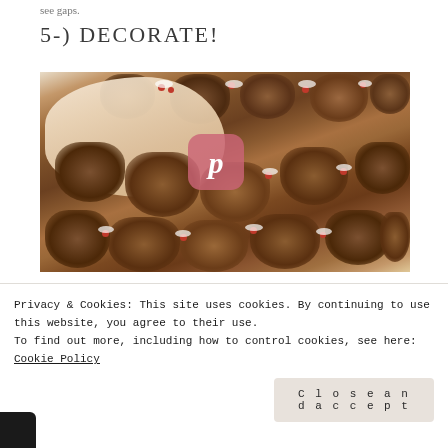see gaps.
5-) DECORATE!
[Figure (photo): A hand placing holly/berry decorations onto a pinecone wreath. The wreath is made of large brown pine cones arranged in a circle with small white and red berry sprigs tucked between them. A Pinterest icon overlay appears in the center of the image.]
Privacy & Cookies: This site uses cookies. By continuing to use this website, you agree to their use.
To find out more, including how to control cookies, see here: Cookie Policy
Close and accept